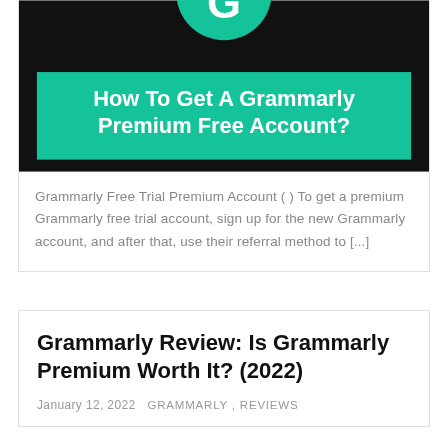[Figure (screenshot): Thumbnail image with black background, Grammarly green logo at top, and green banner reading 'How To Get A Grammarly Premium Free Account?']
Grammarly Free Trial Premium Account ( ) To get a premium Grammarly free trial account, sign up for the new Grammarly account, and after that, use their referral method to [...]
Grammarly Review: Is Grammarly Premium Worth It? (2022)
January 12, 2022   GRAMMARLY , REVIEWS